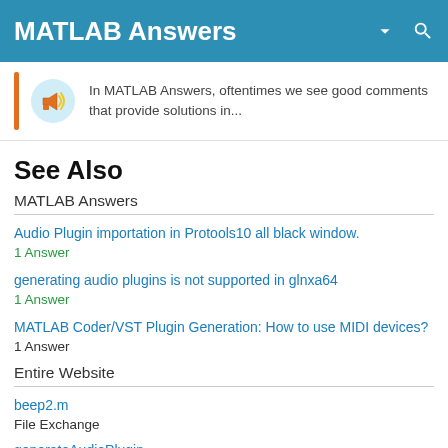MATLAB Answers
In MATLAB Answers, oftentimes we see good comments that provide solutions in...
See Also
MATLAB Answers
Audio Plugin importation in Protools10 all black window.
1 Answer
generating audio plugins is not supported in glnxa64
1 Answer
MATLAB Coder/VST Plugin Generation: How to use MIDI devices?
1 Answer
Entire Website
beep2.m
File Exchange
generateAudioPlugin
Documentation